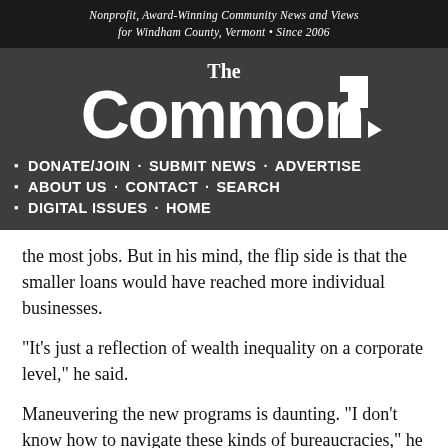Nonprofit, Award-Winning Community News and Views for Windham County, Vermont • Since 2006
[Figure (logo): The Commons newspaper logo — large white serif/sans text on dark gray background reading 'The Commons' with stylized arrow on the 's']
DONATE/JOIN · SUBMIT NEWS · ADVERTISE
ABOUT US · CONTACT · SEARCH
DIGITAL ISSUES · HOME
the most jobs. But in his mind, the flip side is that the smaller loans would have reached more individual businesses.
“It’s just a reflection of wealth inequality on a corporate level,” he said.
Maneuvering the new programs is daunting. “I don’t know how to navigate these kinds of bureaucracies,” he said. Bigger companies, on the other hand, “have dozens of people and lawyers” whose job is to